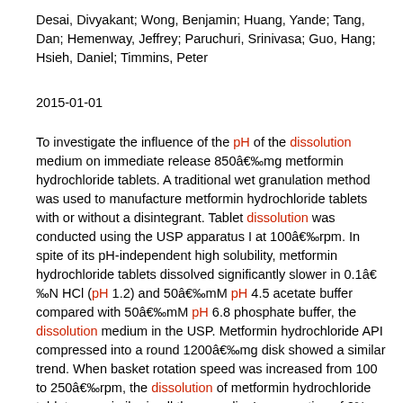Desai, Divyakant; Wong, Benjamin; Huang, Yande; Tang, Dan; Hemenway, Jeffrey; Paruchuri, Srinivasa; Guo, Hang; Hsieh, Daniel; Timmins, Peter
2015-01-01
To investigate the influence of the pH of the dissolution medium on immediate release 850â€‰mg metformin hydrochloride tablets. A traditional wet granulation method was used to manufacture metformin hydrochloride tablets with or without a disintegrant. Tablet dissolution was conducted using the USP apparatus I at 100â€‰rpm. In spite of its pH-independent high solubility, metformin hydrochloride tablets dissolved significantly slower in 0.1â€‰N HCl (pH 1.2) and 50â€‰mM pH 4.5 acetate buffer compared with 50â€‰mM pH 6.8 phosphate buffer, the dissolution medium in the USP. Metformin hydrochloride API compressed into a round 1200â€‰mg disk showed a similar trend. When basket rotation speed was increased from 100 to 250â€‰rpm, the dissolution of metformin hydrochloride tablets was similar in all three media. Incorporation of 2% w/w crospovidone in the tablet formulation improved the dissolution although the pH-dependent trend was still evident, but